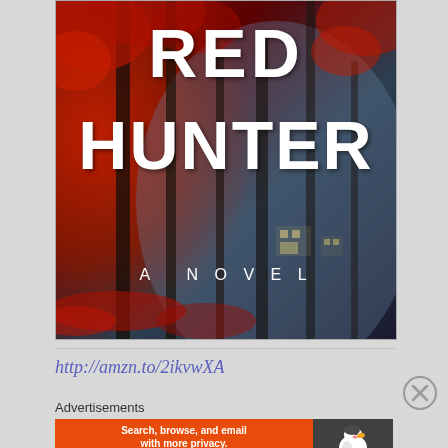[Figure (illustration): Book cover for 'Red Hunter: A Novel' — dark moody forest scene with vivid red autumn leaves on left side, misty blue-grey atmosphere, dark tree trunks, faint glowing house windows in background. Large bold white text reads 'RED' on top and 'HUNTER' below, with 'A NOVEL' in white spaced lettering near bottom.]
http://amzn.to/2ikvwXA
Advertisements
[Figure (screenshot): DuckDuckGo advertisement banner: orange left section with white bold text 'Search, browse, and email with more privacy.' and 'All in One Free App' button, dark grey right section with DuckDuckGo duck logo.]